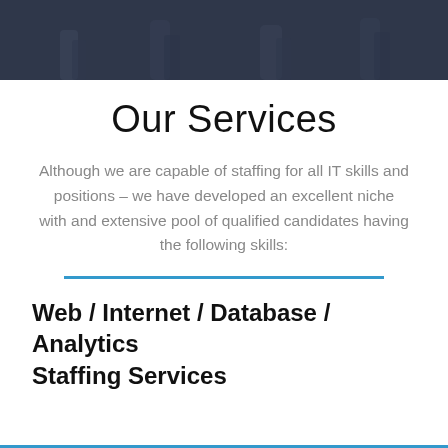[Figure (photo): Dark banner photo showing blurry silhouettes of people walking in an office or hallway setting]
Our Services
Although we are capable of staffing for all IT skills and positions – we have developed an excellent niche with and extensive pool of qualified candidates having the following skills:
Web / Internet / Database / Analytics Staffing Services